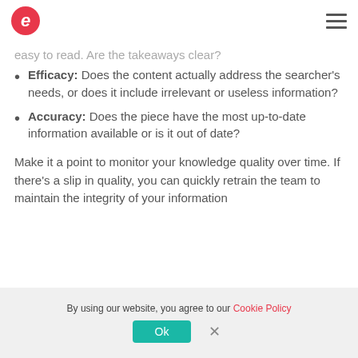e (logo) / hamburger menu
easy to read. Are the takeaways clear?
**Efficacy: **Does the content actually address the searcher's needs, or does it include irrelevant or useless information?
**Accuracy: **Does the piece have the most up-to-date information available or is it out of date?
Make it a point to monitor your knowledge quality over time. If there's a slip in quality, you can quickly retrain the team to maintain the integrity of your information
By using our website, you agree to our Cookie Policy